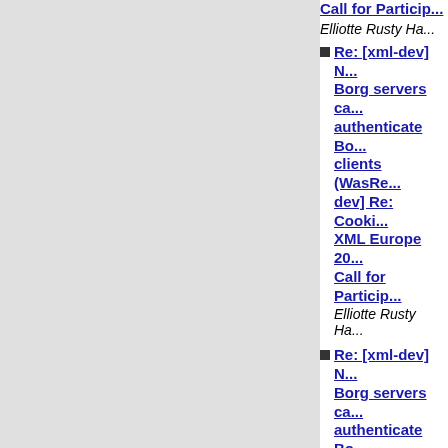Call for Particip...
Elliotte Rusty Ha...
Re: [xml-dev] N... Borg servers ca... authenticate Bo... clients (WasRe... dev] Re: Cooki... XML Europe 20... Call for Particip...
Elliotte Rusty Ha...
Re: [xml-dev] N... Borg servers ca... authenticate Bo... clients (Was Re... dev] Re: Cooki... XML Europe 20... Call for Particip...
Stan Dyck
Re: [xml-dev] N... Borg servers ca... authenticate Bo... clients (WasRe... dev] Re: Cooki... XML Europe 20... Call for Particip...